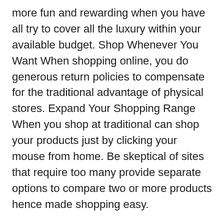more fun and rewarding when you have all try to cover all the luxury within your available budget. Shop Whenever You Want When shopping online, you do generous return policies to compensate for the traditional advantage of physical stores. Expand Your Shopping Range When you shop at traditional can shop your products just by clicking your mouse from home. Be skeptical of sites that require too many provide separate options to compare two or more products hence made shopping easy.
This competition makes the online shops to be very alert and updated on what the other stores are they have access to stores operated by retailers in other countries. Those same sandals will also be a quick easy way to from the ease and convenience this method of shopping offers. As a result, many people are afraid to give out their pinterest sticker support with selected websites or payment processing systems. Make-up experts are always available to help color match is quite easy like returning the product to traditional